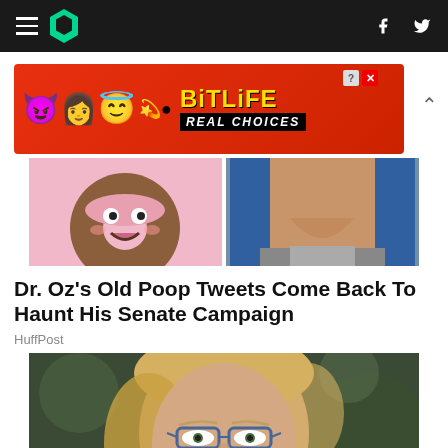HuffPost navigation with hamburger menu, logo, Facebook and Twitter icons
[Figure (photo): BitLife advertisement banner - REAL CHOICES with cartoon characters on red background]
[Figure (photo): Two article images side by side: cartoon donut character on pink background (left), Dr. Oz face close-up (right)]
Dr. Oz's Old Poop Tweets Come Back To Haunt His Senate Campaign
HuffPost
[Figure (photo): Woman with blonde hair and blue glasses looking serious, outdoors with green background]